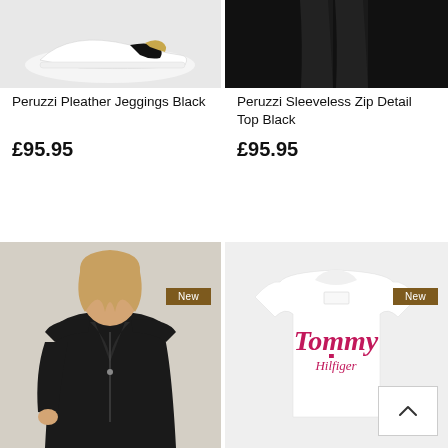[Figure (photo): White sneakers with black/gold stripe on light grey background]
[Figure (photo): Black skinny jeans/leggings on dark background, lower body only]
Peruzzi Pleather Jeggings Black
£95.95
Peruzzi Sleeveless Zip Detail Top Black
£95.95
[Figure (photo): Woman wearing black biker jacket over black outfit, blonde hair, beige background. New badge in top right.]
[Figure (photo): Tommy Hilfiger white t-shirt on white/light grey background. New badge in top right. Scroll-to-top button in bottom right.]